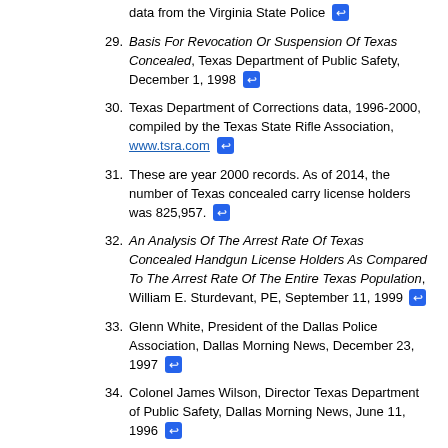data from the Virginia State Police [link]
29. Basis For Revocation Or Suspension Of Texas Concealed, Texas Department of Public Safety, December 1, 1998 [link]
30. Texas Department of Corrections data, 1996-2000, compiled by the Texas State Rifle Association, www.tsra.com [link]
31. These are year 2000 records. As of 2014, the number of Texas concealed carry license holders was 825,957. [link]
32. An Analysis Of The Arrest Rate Of Texas Concealed Handgun License Holders As Compared To The Arrest Rate Of The Entire Texas Population, William E. Sturdevant, PE, September 11, 1999 [link]
33. Glenn White, President of the Dallas Police Association, Dallas Morning News, December 23, 1997 [link]
34. Colonel James Wilson, Director Texas Department of Public Safety, Dallas Morning News, June 11, 1996 [link]
35. Multiple Victim Public Shootings, Bombings, and Right-to-Carry Concealed Handgun Laws: Contrasting Private and Public Law Enforcement, John Lott, et al...